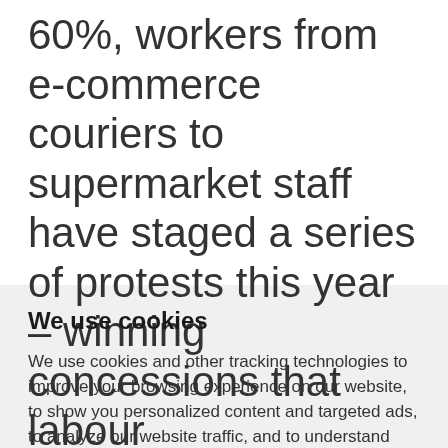60%, workers from e-commerce couriers to supermarket staff have staged a series of protests this year – winning concessions that labour
We use cookies
We use cookies and other tracking technologies to improve your browsing experience on our website, to show you personalized content and targeted ads, to analyze our website traffic, and to understand where our visitors are coming from.